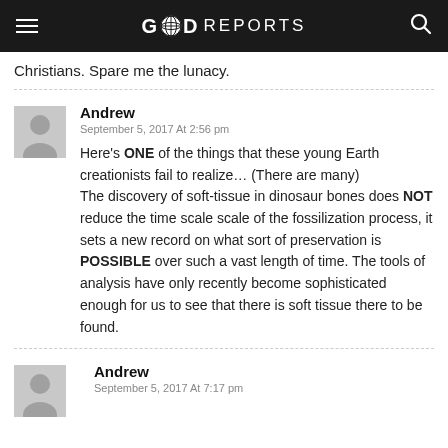GOD REPORTS
Christians. Spare me the lunacy.
Andrew
September 5, 2017 At 2:56 pm
Here’s ONE of the things that these young Earth creationists fail to realize… (There are many)
The discovery of soft-tissue in dinosaur bones does NOT reduce the time scale scale of the fossilization process, it sets a new record on what sort of preservation is POSSIBLE over such a vast length of time. The tools of analysis have only recently become sophisticated enough for us to see that there is soft tissue there to be found.
Andrew
September 5, 2017 At 7:17 pm